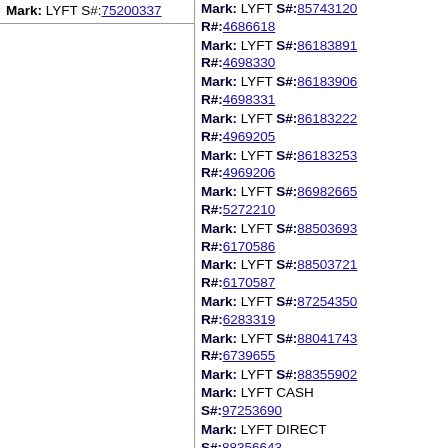Mark: LYFT S#:75200337
Mark: LYFT S#:85743120 R#:4686618
Mark: LYFT S#:86183891 R#:4698330
Mark: LYFT S#:86183906 R#:4698331
Mark: LYFT S#:86183222 R#:4969205
Mark: LYFT S#:86183253 R#:4969206
Mark: LYFT S#:86982665 R#:5272210
Mark: LYFT S#:88503693 R#:6170586
Mark: LYFT S#:88503721 R#:6170587
Mark: LYFT S#:87254350 R#:6283319
Mark: LYFT S#:88041743 R#:6739655
Mark: LYFT S#:88355902
Mark: LYFT CASH S#:97253690
Mark: LYFT DIRECT S#:88356643
Mark: LYFT FAST MATCH S#:88579385
Mark: LYFT HEALTHCARE S#:88917083
Mark: LYFT LINE